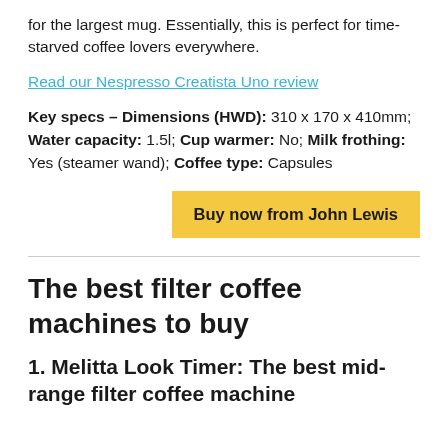for the largest mug. Essentially, this is perfect for time-starved coffee lovers everywhere.
Read our Nespresso Creatista Uno review
Key specs – Dimensions (HWD): 310 x 170 x 410mm; Water capacity: 1.5l; Cup warmer: No; Milk frothing: Yes (steamer wand); Coffee type: Capsules
Buy now from John Lewis
The best filter coffee machines to buy
1. Melitta Look Timer: The best mid-range filter coffee machine